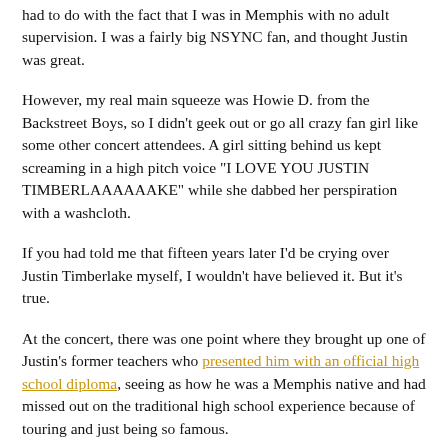had to do with the fact that I was in Memphis with no adult supervision. I was a fairly big NSYNC fan, and thought Justin was great.
However, my real main squeeze was Howie D. from the Backstreet Boys, so I didn't geek out or go all crazy fan girl like some other concert attendees. A girl sitting behind us kept screaming in a high pitch voice "I LOVE YOU JUSTIN TIMBERLAAAAAAKE" while she dabbed her perspiration with a washcloth.
If you had told me that fifteen years later I'd be crying over Justin Timberlake myself, I wouldn't have believed it. But it's true.
At the concert, there was one point where they brought up one of Justin's former teachers who presented him with an official high school diploma, seeing as how he was a Memphis native and had missed out on the traditional high school experience because of touring and just being so famous.
It was a particularly loving moment for our best friend, and